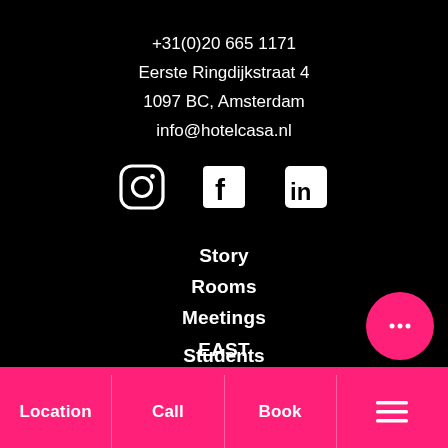+31(0)20 665 1171
Eerste Ringdijkstraat 4
1097 BC, Amsterdam
info@hotelcasa.nl
[Figure (infographic): Three social media icons: Instagram, Facebook, LinkedIn — white on black background]
Story
Rooms
Meetings
EAST
GAPP
Location
Students
Location | Call | Book | ☰